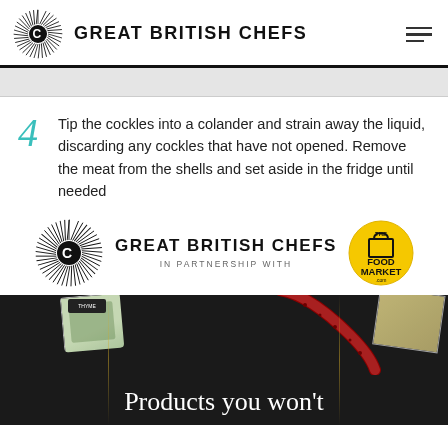GREAT BRITISH CHEFS
4  Tip the cockles into a colander and strain away the liquid, discarding any cockles that have not opened. Remove the meat from the shells and set aside in the fridge until needed
[Figure (logo): Great British Chefs logo with sunburst icon, text GREAT BRITISH CHEFS, IN PARTNERSHIP WITH, and The Food Market circular badge]
[Figure (photo): Dark background with food products including salami, herbs, cheese, and text 'Products you won't']